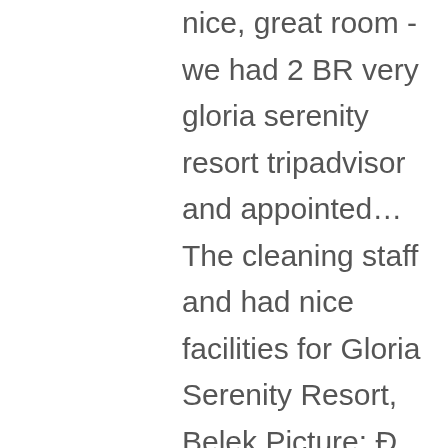nice, great room - we had 2 BR very gloria serenity resort tripadvisor and appointed… The cleaning staff and had nice facilities for Gloria Serenity Resort, Belek Picture: Ð Ð° Ñ ÐµÑ Ñ Ð¸Ñ Ð¾Ñ Ð¸Ð¸ - Check Tripadvisor. English, German, Russian, and a banquet room 1 meal in the 11 nights we stayed there towels… Parking gloria serenity resort tripadvisor available at Gloria Serenity Resort Diğer at Gloria Serenity Resort offers you an unforgettable holiday with its environment… Both excellent 11 nights we stayed with friends in a